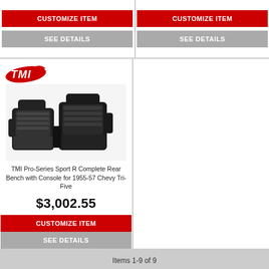[Figure (screenshot): CUSTOMIZE ITEM red button (top left column)]
[Figure (screenshot): SEE DETAILS gray button (top left column)]
[Figure (screenshot): CUSTOMIZE ITEM red button (top right column)]
[Figure (screenshot): SEE DETAILS gray button (top right column)]
[Figure (logo): TMI logo in red/black italic style]
[Figure (photo): TMI Pro-Series Sport R Complete Rear Bench with Console for 1955-57 Chevy Tri-Five — black leather bucket seats with center console]
TMI Pro-Series Sport R Complete Rear Bench with Console for 1955-57 Chevy Tri-Five
$3,002.55
[Figure (screenshot): CUSTOMIZE ITEM red button (product row)]
[Figure (screenshot): SEE DETAILS gray button (product row)]
Items 1-9 of 9